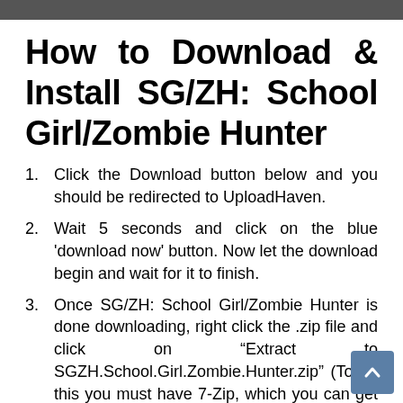[Figure (photo): Dark image strip at the top of the page]
How to Download & Install SG/ZH: School Girl/Zombie Hunter
Click the Download button below and you should be redirected to UploadHaven.
Wait 5 seconds and click on the blue 'download now' button. Now let the download begin and wait for it to finish.
Once SG/ZH: School Girl/Zombie Hunter is done downloading, right click the .zip file and click on "Extract to SGZH.School.Girl.Zombie.Hunter.zip" (To do this you must have 7-Zip, which you can get here).